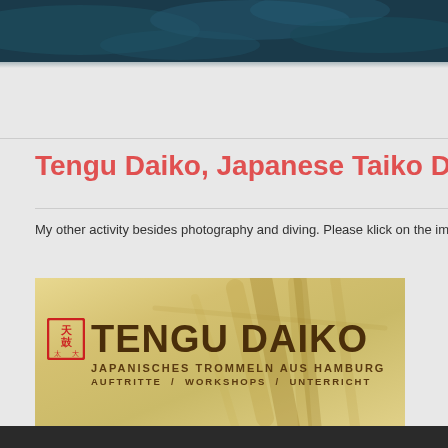[Figure (photo): Dark teal/blue banner image at top of webpage, appears to be an abstract or water/nature photo]
Tengu Daiko, Japanese Taiko Drumming fr
My other activity besides photography and diving. Please klick on the image
[Figure (logo): Tengu Daiko logo image with Japanese seal on left, large text TENGU DAIKO, subtitle JAPANISCHES TROMMELN AUS HAMBURG, and navigation AUFTRITTE / WORKSHOPS / UNTERRICHT on aged parchment background with calligraphic brush strokes]